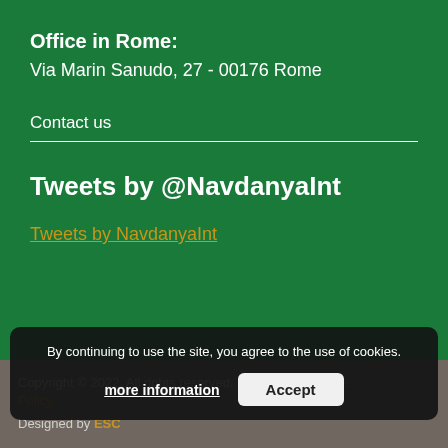Office in Rome:
Via Marin Sanudo, 27 - 00176 Rome
Contact us
Tweets by @NavdanyaInt
Tweets by NavdanyaInt
Copyright © 2022. All rights reserved. Privacy and Cookie Policy
Designed by ESC
By continuing to use the site, you agree to the use of cookies.
more information   Accept